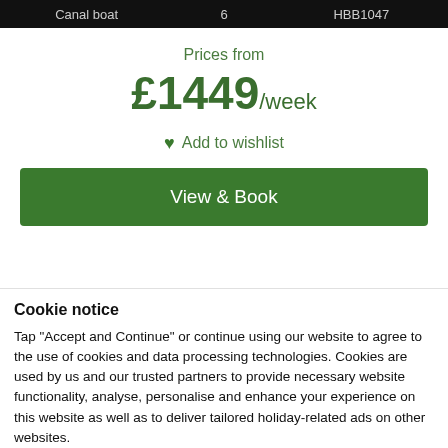Canal boat   6   HBB1047
Prices from
£1449/week
♥ Add to wishlist
View & Book
Cookie notice
Tap "Accept and Continue" or continue using our website to agree to the use of cookies and data processing technologies. Cookies are used by us and our trusted partners to provide necessary website functionality, analyse, personalise and enhance your experience on this website as well as to deliver tailored holiday-related ads on other websites.
Accept and Continue